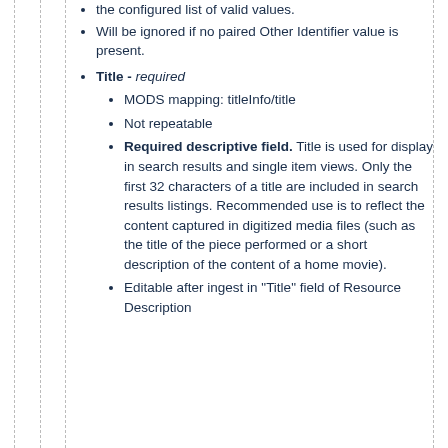the configured list of valid values.
Will be ignored if no paired Other Identifier value is present.
Title - required
MODS mapping: titleInfo/title
Not repeatable
Required descriptive field. Title is used for display in search results and single item views. Only the first 32 characters of a title are included in search results listings. Recommended use is to reflect the content captured in digitized media files (such as the title of the piece performed or a short description of the content of a home movie).
Editable after ingest in "Title" field of Resource Description